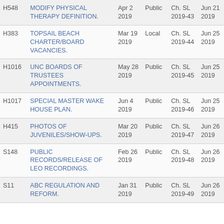| Bill | Title | Date | Scope | Chapter | Effective Date |
| --- | --- | --- | --- | --- | --- |
| H548 | MODIFY PHYSICAL THERAPY DEFINITION. | Apr 2 2019 | Public | Ch. SL 2019-43 | Jun 21 2019 |
| H383 | TOPSAIL BEACH CHARTER/BOARD VACANCIES. | Mar 19 2019 | Local | Ch. SL 2019-44 | Jun 25 2019 |
| H1016 | UNC BOARDS OF TRUSTEES APPOINTMENTS. | May 28 2019 | Public | Ch. SL 2019-45 | Jun 25 2019 |
| H1017 | SPECIAL MASTER WAKE HOUSE PLAN. | Jun 4 2019 | Public | Ch. SL 2019-46 | Jun 25 2019 |
| H415 | PHOTOS OF JUVENILES/SHOW-UPS. | Mar 20 2019 | Public | Ch. SL 2019-47 | Jun 26 2019 |
| S148 | PUBLIC RECORDS/RELEASE OF LEO RECORDINGS. | Feb 26 2019 | Public | Ch. SL 2019-48 | Jun 26 2019 |
| S11 | ABC REGULATION AND REFORM. | Jan 31 2019 | Public | Ch. SL 2019-49 | Jun 26 2019 |